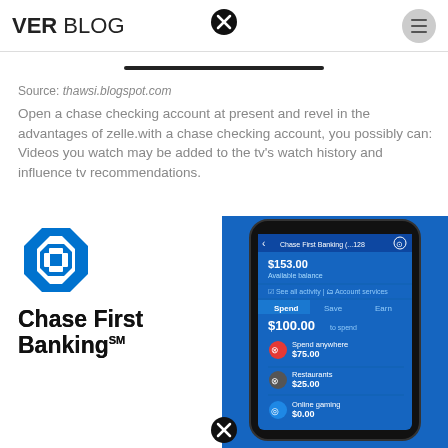VER BLOG
Source: thawsi.blogspot.com
Open a chase checking account at present and revel in the advantages of zelle.with a chase checking account, you possibly can: Videos you watch may be added to the tv's watch history and influence tv recommendations.
[Figure (photo): Chase First Banking logo and smartphone app screenshot showing the Chase First Banking interface with spending categories: Spend anywhere $75.00, Restaurants $25.00, Online gaming $0.00]
Chase First Banking℠